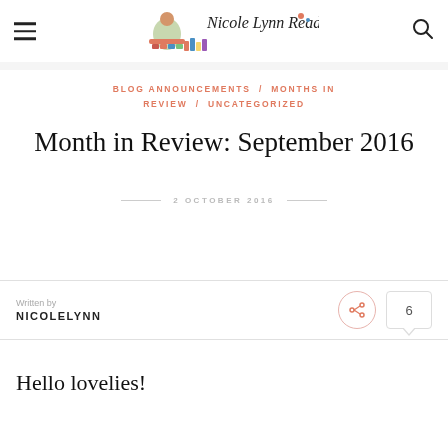Nicole Lynn Reads
BLOG ANNOUNCEMENTS / MONTHS IN REVIEW / UNCATEGORIZED
Month in Review: September 2016
2 OCTOBER 2016
Written by
NICOLELYNN
Hello lovelies!